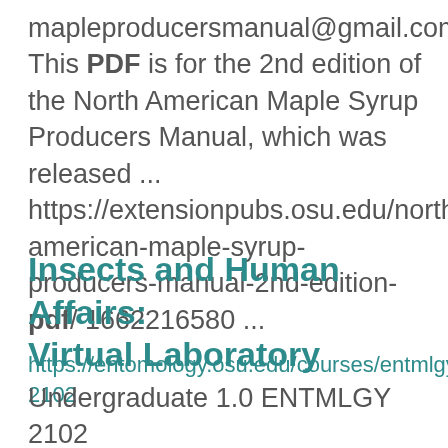mapleproducersmanual@gmail.com. This PDF is for the 2nd edition of the North American Maple Syrup Producers Manual, which was released ... https://extensionpubs.osu.edu/north-american-maple-syrup-producers-manual-2nd-edition-pdf/ 1662216580 ...
Insects and Human Affairs: Virtual Laboratory
https://entomology.osu.edu/courses/entmlgy-2102 Undergraduate 1.0 ENTMLGY 2102 Syllabus AU22 v.5.pdf Autumn 2022 Spring 2023 Ellen Klinger, MS, PhD